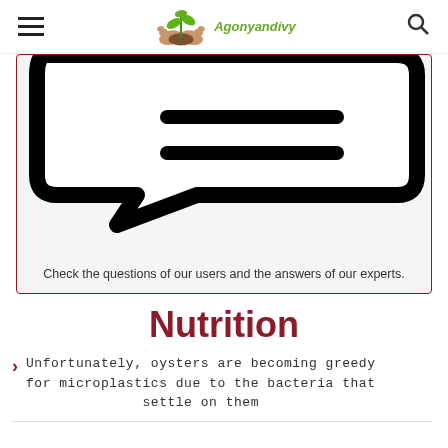Agonyandivy
[Figure (illustration): Large speech bubble / chat icon in black outline on light gray background, with two horizontal lines inside suggesting text]
Check the questions of our users and the answers of our experts.
Nutrition
Unfortunately, oysters are becoming greedy for microplastics due to the bacteria that settle on them